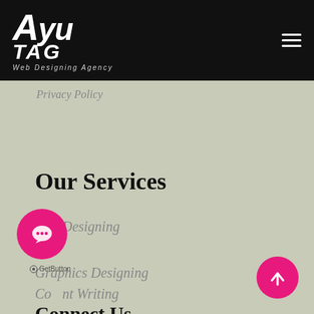[Figure (logo): Ayutag Web Designing Agency logo in white italic bold text on black background with hamburger menu icon]
Privacy Policy
Our Services
Web Designing
SEO
Graphics Designing
Content Writing
[Figure (illustration): Pink circular chat/message button with speech bubble icon]
GetButton
Connect Us
[Figure (illustration): Pink circular scroll-to-top button with upward arrow icon]